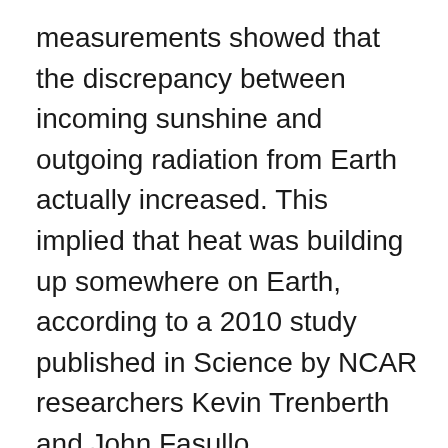measurements showed that the discrepancy between incoming sunshine and outgoing radiation from Earth actually increased. This implied that heat was building up somewhere on Earth, according to a 2010 study published in Science by NCAR researchers Kevin Trenberth and John Fasullo.
The two scientists, who are coauthors on the new study, suggested that the oceans might be storing some of the heat that would otherwise go toward other processes, such as warming the atmosphere or land, or melting more ice and snow. Observations from a global network of buoys showed some warming in the upper ocean, but not enough